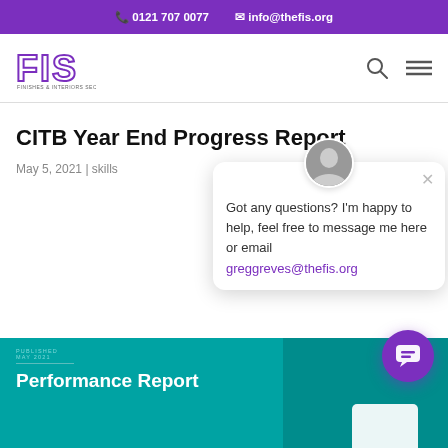0121 707 0077  info@thefis.org
[Figure (logo): FIS (Finishes and Interiors Sector) logo in purple outline lettering]
CITB Year End Progress Report
May 5, 2021 | skills
[Figure (screenshot): Chat popup with person avatar, close button, message: Got any questions? I'm happy to help, feel free to message me here or email greggreves@thefis.org]
[Figure (illustration): CITB Performance Report cover card in teal/cyan color with 'PUBLISHED MAY 2021' label and 'Performance Report' title text]